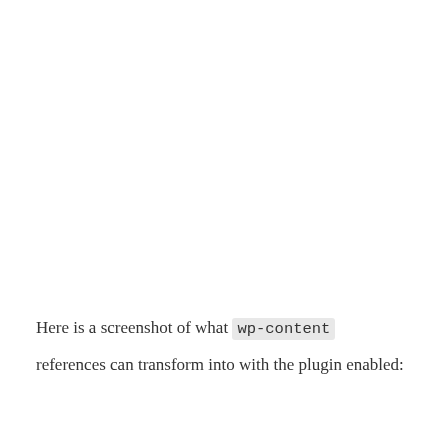Here is a screenshot of what wp-content references can transform into with the plugin enabled: